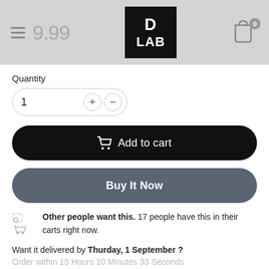[Figure (logo): D LAB logo in white text on black square background, centered in grey navigation header]
Quantity
1
Add to cart
Buy It Now
Other people want this. 17 people have this in their carts right now.
Want it delivered by Thurday, 1 September ?
Order within 15 Hours 10 Minutes 33 Seconds